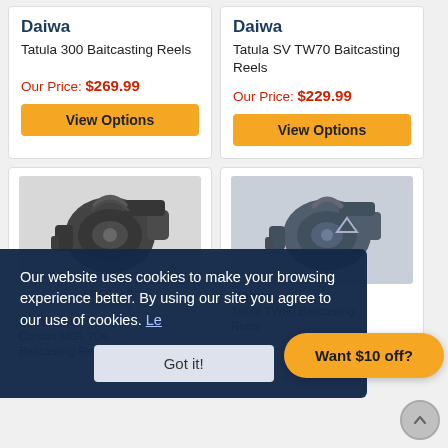Daiwa
Tatula 300 Baitcasting Reels
Our Price: $269.99
View Options
Daiwa
Tatula SV TW70 Baitcasting Reels
Our Price: $229.99
View Options
[Figure (photo): Dark baitcasting fishing reel - left product]
FREE U.S.
Shimano
Curado MGL 70K Baitcasting Reels
[Figure (photo): Dark baitcasting fishing reel - right product]
Daiwa
Tatula TW80 Baitcasting Reels
Our website uses cookies to make your browsing experience better. By using our site you agree to our use of cookies. Le...
Got it!
Want $10 off?